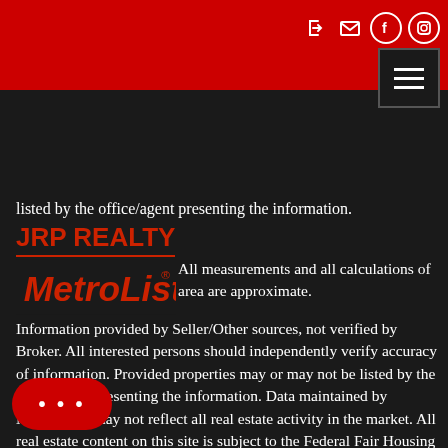Navigation header with social icons and hamburger menu
listed by the office/agent presenting the information.
JRP REALTY
[Figure (logo): MetroList logo in red italic font with registered trademark symbol]
All measurements and all calculations of area are approximate. Information provided by Seller/Other sources, not verified by Broker. All interested persons should independently verify accuracy of information. Provided properties may or may not be listed by the office/agent presenting the information. Data maintained by MetroList© may not reflect all real estate activity in the market. All real estate content on this site is subject to the Federal Fair Housing Act of 1968, as which makes it illegal to advertise any preference, discrimination because of race, color, religion, sex, handicap, family status or national origin or an intention to make